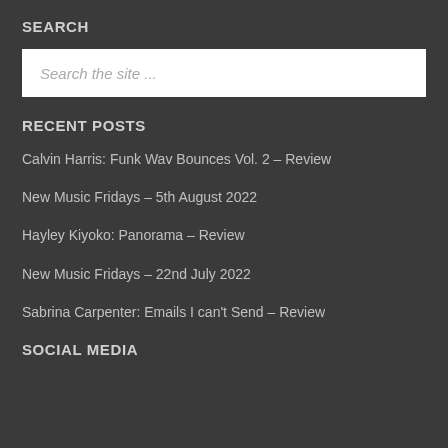SEARCH
Search the site ...
RECENT POSTS
Calvin Harris: Funk Wav Bounces Vol. 2 – Review
New Music Fridays – 5th August 2022
Hayley Kiyoko: Panorama – Review
New Music Fridays – 22nd July 2022
Sabrina Carpenter: Emails I can't Send – Review
SOCIAL MEDIA